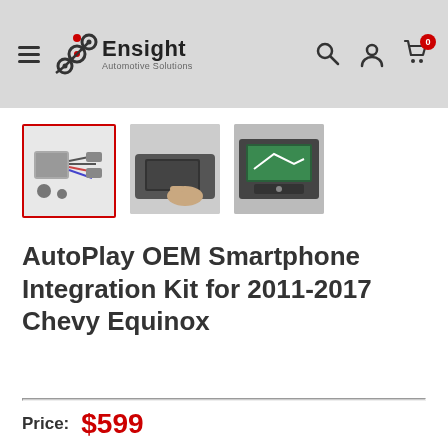Ensight Automotive Solutions — navigation bar with hamburger menu, logo, search, account, and cart icons
[Figure (photo): Three product thumbnail images: first image (selected, red border) shows AutoPlay kit hardware with wiring, second shows installation in car dashboard, third shows installed touchscreen displaying CarPlay interface]
AutoPlay OEM Smartphone Integration Kit for 2011-2017 Chevy Equinox
Price: $599